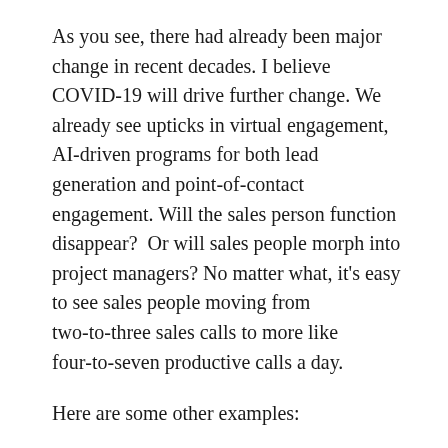As you see, there had already been major change in recent decades. I believe COVID-19 will drive further change. We already see upticks in virtual engagement, AI-driven programs for both lead generation and point-of-contact engagement. Will the sales person function disappear?  Or will sales people morph into project managers? No matter what, it's easy to see sales people moving from two-to-three sales calls to more like four-to-seven productive calls a day.
Here are some other examples:
Benefits statements and value propositions will have new or altered components. Think